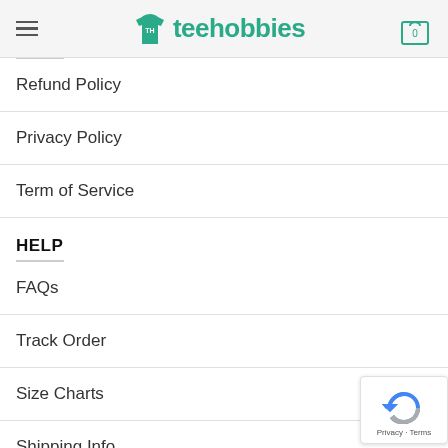teehobbies
Refund Policy
Privacy Policy
Term of Service
HELP
FAQs
Track Order
Size Charts
Shipping Info